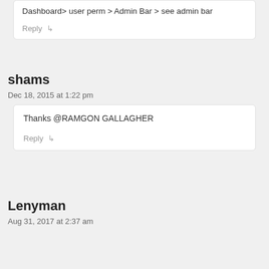Dashboard> user perm > Admin Bar > see admin bar
Reply ↳
shams
Dec 18, 2015 at 1:22 pm
Thanks @RAMGON GALLAGHER
Reply ↳
Lenyman
Aug 31, 2017 at 2:37 am